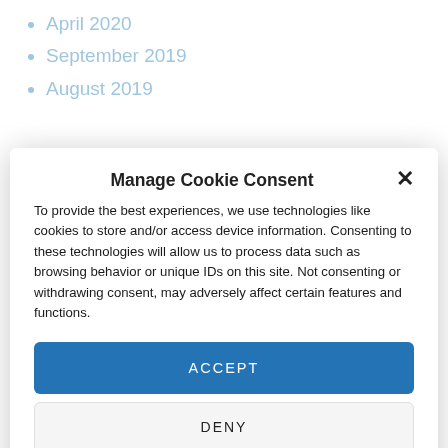April 2020
September 2019
August 2019
Manage Cookie Consent
To provide the best experiences, we use technologies like cookies to store and/or access device information. Consenting to these technologies will allow us to process data such as browsing behavior or unique IDs on this site. Not consenting or withdrawing consent, may adversely affect certain features and functions.
ACCEPT
DENY
VIEW PREFERENCES
Cookie Policy